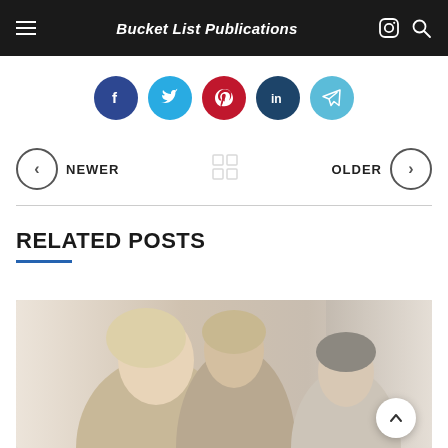Bucket List Publications
[Figure (infographic): Social sharing buttons: Facebook, Twitter, Pinterest, LinkedIn, Telegram]
NEWER | [grid icon] | OLDER
RELATED POSTS
[Figure (photo): Three women laughing together indoors]